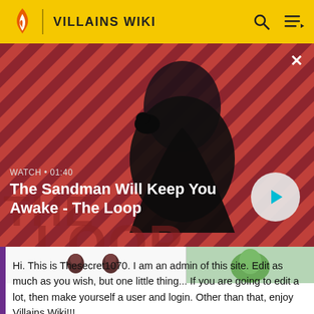VILLAINS WIKI
[Figure (screenshot): Video thumbnail showing a dark-cloaked figure with a raven on shoulder against a red and black diagonal striped background. Title: 'The Sandman Will Keep You Awake - The Loop'. Watch time: 01:40. Play button visible.]
Hi. This is Thesecret1070. I am an admin of this site. Edit as much as you wish, but one little thing... If you are going to edit a lot, then make yourself a user and login. Other than that, enjoy Villains Wiki!!!